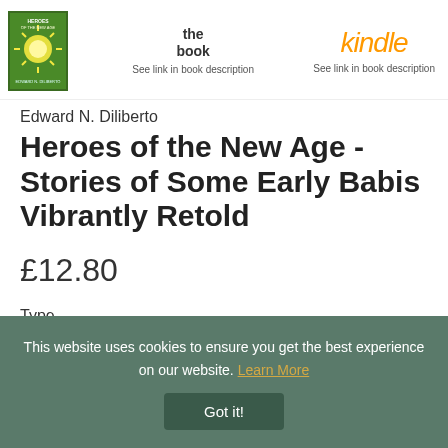[Figure (illustration): Book cover for 'Heroes of the New Age' by Edward N. Diliberto, showing a bright light/sun burst on green/yellow background]
the book
See link in book description
kindle
See link in book description
Edward N. Diliberto
Heroes of the New Age - Stories of Some Early Babis Vibrantly Retold
£12.80
Type
This website uses cookies to ensure you get the best experience on our website. Learn More
Got it!